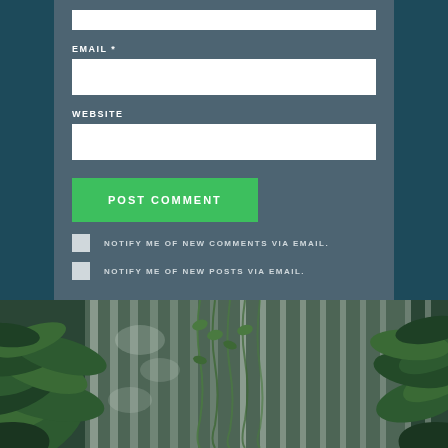EMAIL *
WEBSITE
POST COMMENT
NOTIFY ME OF NEW COMMENTS VIA EMAIL.
NOTIFY ME OF NEW POSTS VIA EMAIL.
[Figure (photo): Photograph of indoor tropical plants including large-leafed palms and hanging greenery against white vertical panels]